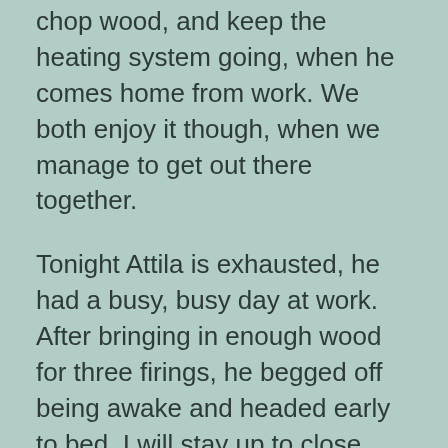chop wood, and keep the heating system going, when he comes home from work. We both enjoy it though, when we manage to get out there together.
Tonight Attila is exhausted, he had a busy, busy day at work. After bringing in enough wood for three firings, he begged off being awake and headed early to bed. I will stay up to close down the masonry heater when the fire is spent, and then I will follow his example and take myself off to bed. It is getting colder, we are expecting a low of -13C, then down to